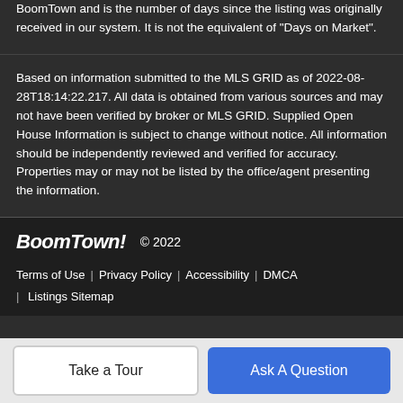BoomTown and is the number of days since the listing was originally received in our system. It is not the equivalent of "Days on Market".
Based on information submitted to the MLS GRID as of 2022-08-28T18:14:22.217. All data is obtained from various sources and may not have been verified by broker or MLS GRID. Supplied Open House Information is subject to change without notice. All information should be independently reviewed and verified for accuracy. Properties may or may not be listed by the office/agent presenting the information.
BoomTown! © 2022
Terms of Use | Privacy Policy | Accessibility | DMCA | Listings Sitemap
Take a Tour
Ask A Question